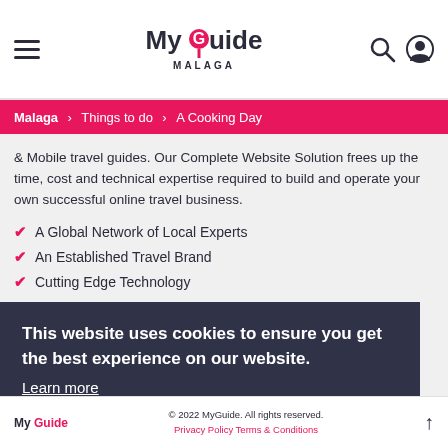MyGuide MALAGA
Malaga > Things to do > A Cooking Day
& Mobile travel guides. Our Complete Website Solution frees up the time, cost and technical expertise required to build and operate your own successful online travel business.
A Global Network of Local Experts
An Established Travel Brand
Cutting Edge Technology
It is a long established fact that a reader will be distracted by the readable content of a page when looking at its layout. But our framework... An click for more info about our...
This website uses cookies to ensure you get the best experience on our website.
Learn more
Got it!
My Guide  © 2022 MyGuide. All rights reserved. Privacy Policy  Terms & Conditions